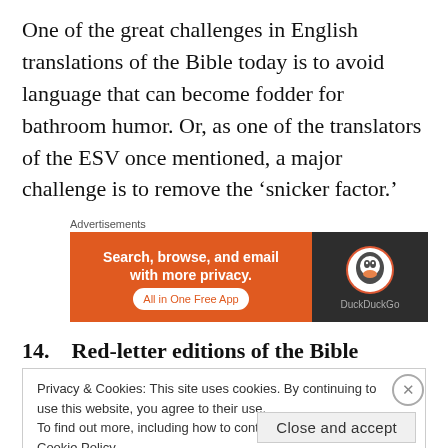One of the great challenges in English translations of the Bible today is to avoid language that can become fodder for bathroom humor. Or, as one of the translators of the ESV once mentioned, a major challenge is to remove the ‘snicker factor.’
Advertisements
[Figure (screenshot): DuckDuckGo advertisement banner: orange background on left with text 'Search, browse, and email with more privacy. All in One Free App', dark background on right with DuckDuckGo duck logo and brand name.]
14.   Red-letter editions of the Bible highlight the
Privacy & Cookies: This site uses cookies. By continuing to use this website, you agree to their use.
To find out more, including how to control cookies, see here: Cookie Policy
Close and accept